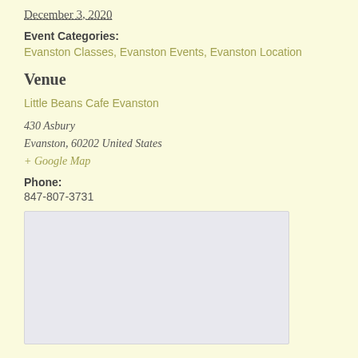December 3, 2020
Event Categories: Evanston Classes, Evanston Events, Evanston Location
Venue
Little Beans Cafe Evanston
430 Asbury
Evanston, 60202 United States
+ Google Map
Phone: 847-807-3731
[Figure (map): Embedded Google Map placeholder showing location of Little Beans Cafe Evanston]